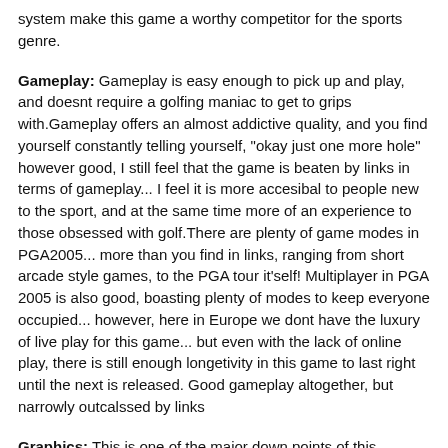system make this game a worthy competitor for the sports genre.
Gameplay: Gameplay is easy enough to pick up and play, and doesnt require a golfing maniac to get to grips with.Gameplay offers an almost addictive quality, and you find yourself constantly telling yourself, "okay just one more hole" however good, I still feel that the game is beaten by links in terms of gameplay... I feel it is more accesibal to people new to the sport, and at the same time more of an experience to those obsessed with golf.There are plenty of game modes in PGA2005... more than you find in links, ranging from short arcade style games, to the PGA tour it'self! Multiplayer in PGA 2005 is also good, boasting plenty of modes to keep everyone occupied... however, here in Europe we dont have the luxury of live play for this game... but even with the lack of online play, there is still enough longetivity in this game to last right until the next is released. Good gameplay altogether, but narrowly outcalssed by links
Graphics: This is one of the major down points of this game... in some areas it looks like courses are